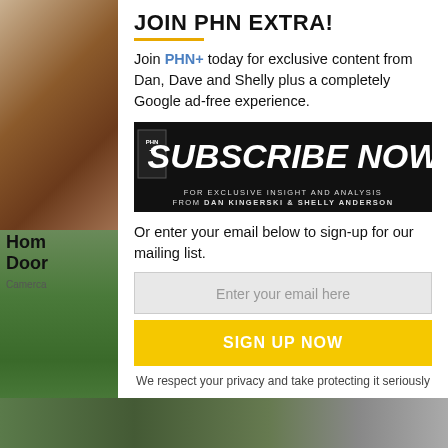[Figure (photo): Left sidebar showing two stacked photos: top is a close-up of weathered brick/stone wall in brown/tan tones; bottom is a green exterior photo of a house with trees.]
JOIN PHN EXTRA!
Join PHN+ today for exclusive content from Dan, Dave and Shelly plus a completely Google ad-free experience.
[Figure (illustration): Subscribe Now banner: black background with large bold white text 'PHN+ SUBSCRIBE NOW' and smaller text 'FOR EXCLUSIVE INSIGHT AND ANALYSIS FROM DAN KINGERSKI & SHELLY ANDERSON']
Or enter your email below to sign-up for our mailing list.
Enter your email here
SIGN UP NOW
We respect your privacy and take protecting it seriously
No thanks, I don't want.